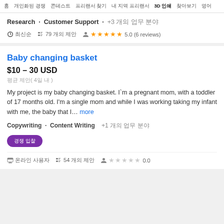홈 개인화된 경쟁 콘테스트 프리랜서 찾기 내 지역 프리랜서 3D 인쇄 찾아보기 영어
Research · Customer Support · +3 개의 업무 분야
최신순  79 개의 제안  5.0 (6 reviews)
Baby changing basket
$10 – 30 USD
평균 제안( 4일 내 )
My project is my baby changing basket. I'm a pregnant mom, with a toddler of 17 months old. I'm a single mom and while I was working taking my infant with me, the baby that I... more
Copywriting · Content Writing  +1 개의 업무 분야
경쟁 입찰
온라인 사용자  54 개의 제안  0.0